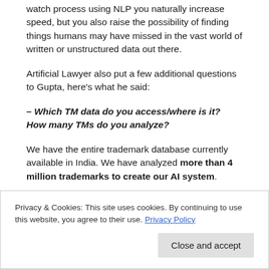watch process using NLP you naturally increase speed, but you also raise the possibility of finding things humans may have missed in the vast world of written or unstructured data out there.
Artificial Lawyer also put a few additional questions to Gupta, here’s what he said:
– Which TM data do you access/where is it? How many TMs do you analyze?
We have the entire trademark database currently available in India. We have analyzed more than 4 million trademarks to create our AI system.
– What is the tech you are using? Is this a type of NLP?
Privacy & Cookies: This site uses cookies. By continuing to use this website, you agree to their use. Privacy Policy
Close and accept